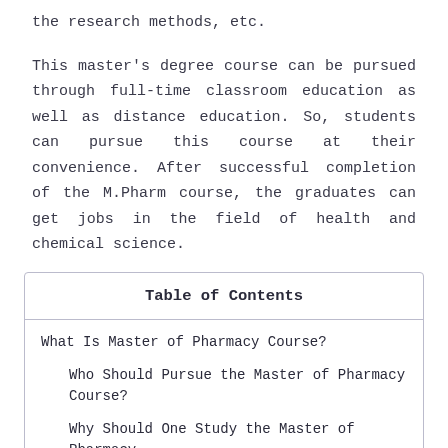the research methods, etc.
This master's degree course can be pursued through full-time classroom education as well as distance education. So, students can pursue this course at their convenience. After successful completion of the M.Pharm course, the graduates can get jobs in the field of health and chemical science.
| Table of Contents |
| --- |
| What Is Master of Pharmacy Course? |
| Who Should Pursue the Master of Pharmacy Course? |
| Why Should One Study the Master of Pharmacy |